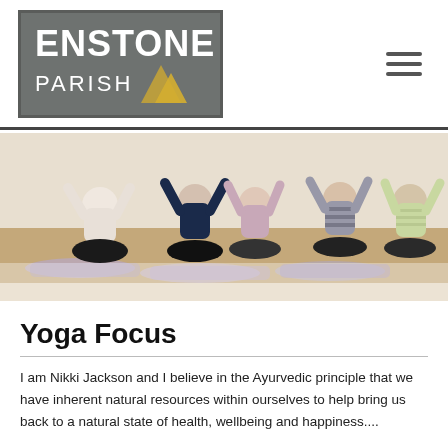[Figure (logo): Enstone Parish logo: grey box with 'ENSTONE' in white bold text, 'PARISH' in white text with a yellow arrow/chevron shape]
[Figure (photo): Group of people sitting cross-legged on yoga mats in a studio, arms raised above their heads, viewed from behind]
Yoga Focus
I am Nikki Jackson and I believe in the Ayurvedic principle that we have inherent natural resources within ourselves to help bring us back to a natural state of health, wellbeing and happiness....